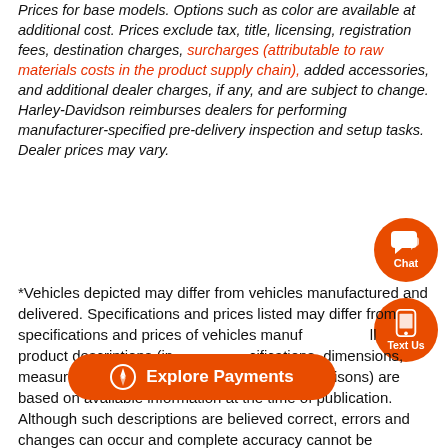Prices for base models. Options such as color are available at additional cost. Prices exclude tax, title, licensing, registration fees, destination charges, surcharges (attributable to raw materials costs in the product supply chain), added accessories, and additional dealer charges, if any, and are subject to change. Harley-Davidson reimburses dealers for performing manufacturer-specified pre-delivery inspection and setup tasks. Dealer prices may vary.
[Figure (other): Orange circular Chat button with speech bubble icon and 'Chat' label]
[Figure (other): Orange circular Text Us button with phone icon and 'Text Us' label]
*Vehicles depicted may differ from vehicles manufactured and delivered. Specifications and prices listed may differ from specifications and prices of vehicles manufactured. All product descriptions (including specifications, dimensions, measurements, ratings and competitive comparisons) are based on available information at the time of publication. Although such descriptions are believed correct, errors and changes can occur and complete accuracy cannot be guaranteed. Harley-Davidson may make changes at any time to prices and
[Figure (other): Orange rounded rectangle button with compass icon and 'Explore Payments' label]